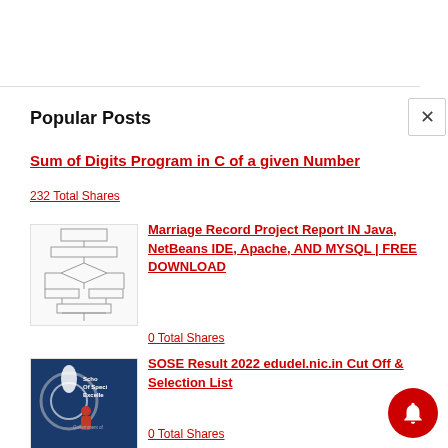Popular Posts
Sum of Digits Program in C of a given Number
232 Total Shares
[Figure (flowchart): Flowchart diagram for a program]
Marriage Record Project Report IN Java, NetBeans IDE, Apache, AND MYSQL | FREE DOWNLOAD
0 Total Shares
[Figure (illustration): School of Special Excellence, Government of... cover image]
SOSE Result 2022 edudel.nic.in Cut Off & Selection List
0 Total Shares